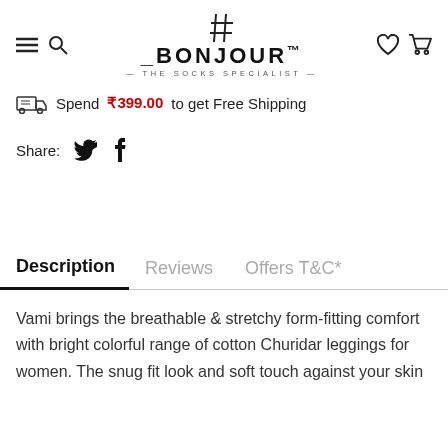BONJOUR™ — THE SOCKS SPECIALIST
Spend ₹399.00 to get Free Shipping
Share:
Description | Reviews | Offers T&C*
Vami brings the breathable & stretchy form-fitting comfort with bright colorful range of cotton Churidar leggings for women. The snug fit look and soft touch against your skin